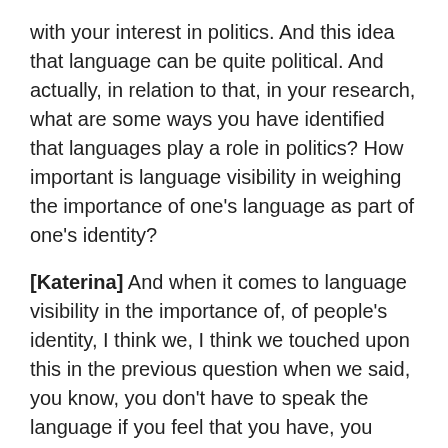with your interest in politics. And this idea that language can be quite political. And actually, in relation to that, in your research, what are some ways you have identified that languages play a role in politics? How important is language visibility in weighing the importance of one's language as part of one's identity?
[Katerina] And when it comes to language visibility in the importance of, of people's identity, I think we, I think we touched upon this in the previous question when we said, you know, you don't have to speak the language if you feel that you have, you know, a certain identity, but that doesn't mean that it's not part of the identity anyway. So, you know, we gave the example of, you know, Greeks in South Africa or Greeks in in the US, for example. But when it comes to the connection between